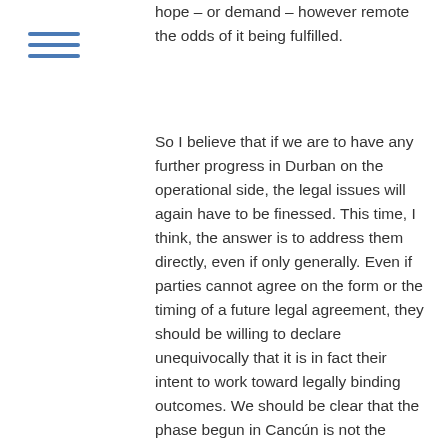hope – or demand – however remote the odds of it being fulfilled.
[Figure (other): Hamburger menu icon with three horizontal blue lines]
So I believe that if we are to have any further progress in Durban on the operational side, the legal issues will again have to be finessed. This time, I think, the answer is to address them directly, even if only generally. Even if parties cannot agree on the form or the timing of a future legal agreement, they should be willing to declare unequivocally that it is in fact their intent to work toward legally binding outcomes. We should be clear that the phase begun in Cancún is not the endpoint. We are not locking ourselves into permanent pledge-and-review.  Rather, it is an evolutionary step toward a fair, effective and binding international framework.